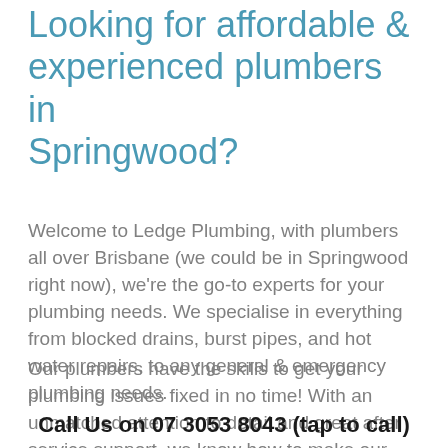Looking for affordable & experienced plumbers in Springwood?
Welcome to Ledge Plumbing, with plumbers all over Brisbane (we could be in Springwood right now), we're the go-to experts for your plumbing needs. We specialise in everything from blocked drains, burst pipes, and hot water repairs, to any general & emergency plumbing needs.
Our plumbers have the skills to get your plumbing issues fixed in no time! With an unmatched attention to detail and great after service support, we know how to make our customers happy!
Call Us on 07 3053 8043 (tap to call)